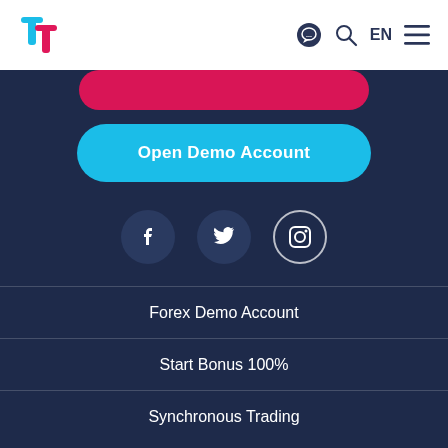[Figure (logo): TradersWay logo with red and blue T letter mark]
[Figure (infographic): Navigation bar icons: chat bubble, search, EN language selector, hamburger menu]
[Figure (other): Partially visible pink/red rounded button at top of dark section]
Open Demo Account
[Figure (infographic): Social media icons: Facebook, Twitter, Instagram on dark circular backgrounds]
Forex Demo Account
Start Bonus 100%
Synchronous Trading
Our Advantages
Economic Calendar